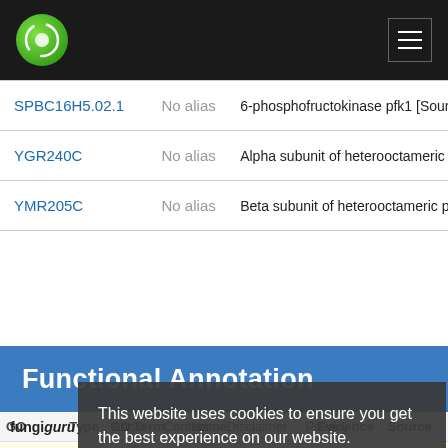fungi guru [logo] [hamburger menu]
| Gene | Alias | Description |
| --- | --- | --- |
| SPBC16H5.02.1 | No alias | 6-phosphofructokinase pfk1 [Source... |
| YGR240C | No alias | Alpha subunit of heterooctameric ph... |
| YMR205C | No alias | Beta subunit of heterooctameric pho... |
Functional Annotation
| GO | Database | Type | GO Term | Name | Evidence | Source |
| --- | --- | --- | --- | --- | --- | --- |
| MF | GO:000387 | 6-phosphofructokinase activity | IEA | Interpro... |
This website uses cookies to ensure you get the best experience on our website. Learn more Got it!
fungiguru About Contact Disclaimer Privacy policy